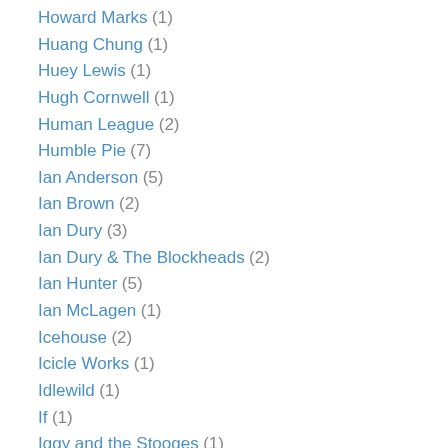Howard Marks (1)
Huang Chung (1)
Huey Lewis (1)
Hugh Cornwell (1)
Human League (2)
Humble Pie (7)
Ian Anderson (5)
Ian Brown (2)
Ian Dury (3)
Ian Dury & The Blockheads (2)
Ian Hunter (5)
Ian McLagen (1)
Icehouse (2)
Icicle Works (1)
Idlewild (1)
If (1)
Iggy and the Stooges (1)
Iggy Pop (5)
Imagination (1)
Incredible String Band (1)